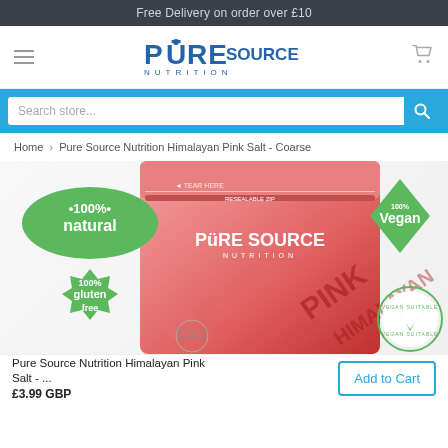Free Delivery on order over £10
[Figure (logo): Pure Source Nutrition logo — bold blue letters with a mountain/athlete icon]
Search store...
Home › Pure Source Nutrition Himalayan Pink Salt - Coarse
[Figure (photo): Product packaging image of Pure Source Nutrition Himalayan Pink Salt bag with 100% natural, 100% gluten free, 100% Vegan labels]
Pure Source Nutrition Himalayan Pink Salt - ...
£3.99 GBP
Add to Cart